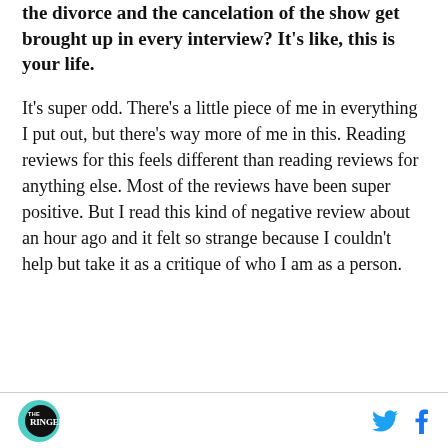the divorce and the cancelation of the show get brought up in every interview? It's like, this is your life.
It's super odd. There's a little piece of me in everything I put out, but there's way more of me in this. Reading reviews for this feels different than reading reviews for anything else. Most of the reviews have been super positive. But I read this kind of negative review about an hour ago and it felt so strange because I couldn't help but take it as a critique of who I am as a person.
THE RINGER